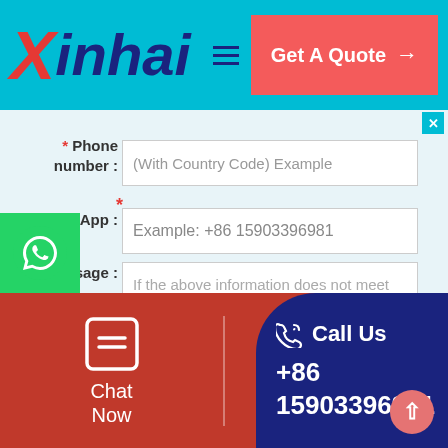[Figure (logo): Xinhai company logo with red X and dark blue inhai text on cyan background, with hamburger menu icon and red Get A Quote button with arrow]
* Phone number :
(With Country Code) Example
* WhatsApp :
Example: +86 15903396981
* Message :
If the above information does not meet your needs, please fill in your specific needs here.
[Figure (logo): WhatsApp green icon floating on left side]
Chat Now
Leave Massage
Call Us +86 15903396981